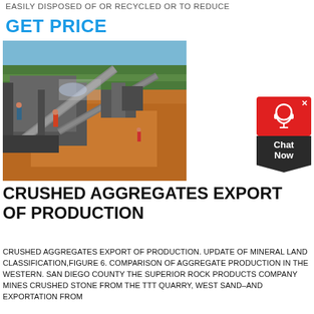EASILY DISPOSED OF OR RECYCLED OR TO REDUCE
GET PRICE
[Figure (photo): Aerial view of a quarry/aggregate crushing plant with conveyor belts, machinery, and workers on red-orange dirt ground with green trees in background]
[Figure (other): Red and dark chat widget with headset icon and 'Chat Now' label]
CRUSHED AGGREGATES EXPORT OF PRODUCTION
CRUSHED AGGREGATES EXPORT OF PRODUCTION. UPDATE OF MINERAL LAND CLASSIFICATION,FIGURE 6. COMPARISON OF AGGREGATE PRODUCTION IN THE WESTERN. SAN DIEGO COUNTY THE SUPERIOR ROCK PRODUCTS COMPANY MINES CRUSHED STONE FROM THE TTT QUARRY, WEST SAND–AND EXPORTATION FROM